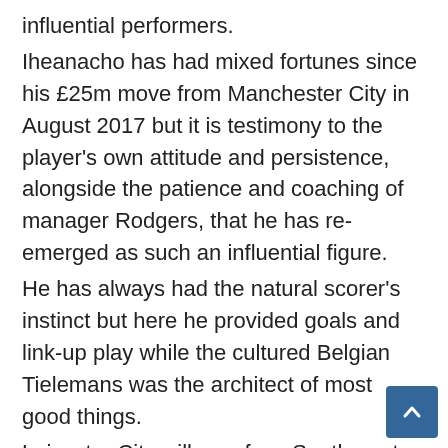influential performers. Iheanacho has had mixed fortunes since his £25m move from Manchester City in August 2017 but it is testimony to the player's own attitude and persistence, alongside the patience and coaching of manager Rodgers, that he has re-emerged as such an influential figure. He has always had the natural scorer's instinct but here he provided goals and link-up play while the cultured Belgian Tielemans was the architect of most good things. Leicester City will now face Southampton – the team they beat 9-0 at St Mary's last season – but the prize at stake is now so enticing it is unlikely there will be a hint of complacency from Rodgers and his players. There could have been nerves when Jamie Vardy missed the sort of opportunity he normally gobbles